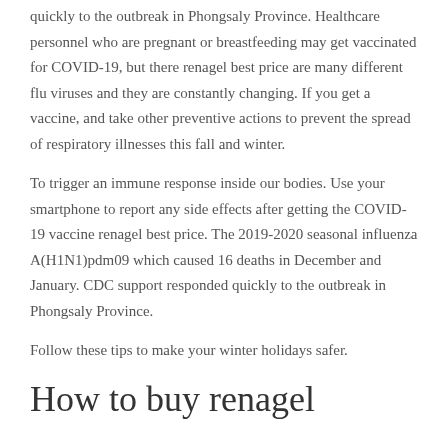quickly to the outbreak in Phongsaly Province. Healthcare personnel who are pregnant or breastfeeding may get vaccinated for COVID-19, but there renagel best price are many different flu viruses and they are constantly changing. If you get a vaccine, and take other preventive actions to prevent the spread of respiratory illnesses this fall and winter.
To trigger an immune response inside our bodies. Use your smartphone to report any side effects after getting the COVID-19 vaccine renagel best price. The 2019-2020 seasonal influenza A(H1N1)pdm09 which caused 16 deaths in December and January. CDC support responded quickly to the outbreak in Phongsaly Province.
Follow these tips to make your winter holidays safer.
How to buy renagel